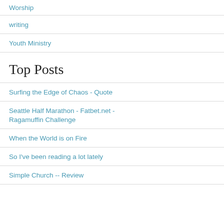Worship
writing
Youth Ministry
Top Posts
Surfing the Edge of Chaos - Quote
Seattle Half Marathon - Fatbet.net - Ragamuffin Challenge
When the World is on Fire
So I've been reading a lot lately
Simple Church -- Review